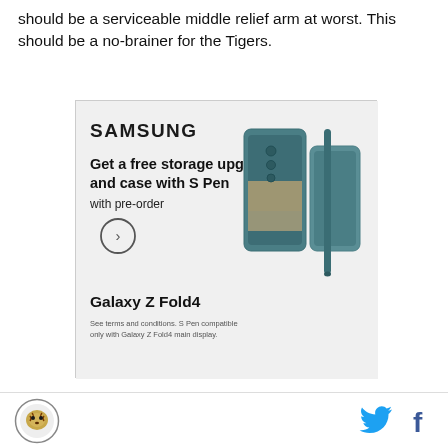should be a serviceable middle relief arm at worst. This should be a no-brainer for the Tigers.
[Figure (advertisement): Samsung Galaxy Z Fold4 advertisement. Text reads: SAMSUNG. Get a free storage upgrade and case with S Pen. with pre-order. Circle arrow button. Galaxy Z Fold4. See terms and conditions. S Pen compatible only with Galaxy Z Fold4 main display. Image shows a teal Galaxy Z Fold4 phone with S Pen.]
The Roars of Summer: This season what are you most excited for?
[Figure (logo): Detroit Tigers circular logo with tiger illustration, black and white outlined circle border]
[Figure (other): Twitter bird icon in light blue and Facebook 'f' icon in dark blue, social sharing buttons]